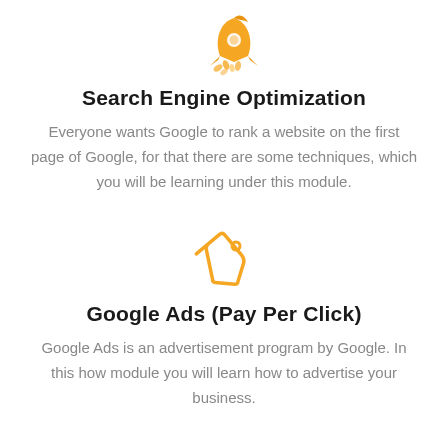[Figure (illustration): Orange rocket ship icon]
Search Engine Optimization
Everyone wants Google to rank a website on the first page of Google, for that there are some techniques, which you will be learning under this module.
[Figure (illustration): Orange price tag / label icon]
Google Ads (Pay Per Click)
Google Ads is an advertisement program by Google. In this how module you will learn how to advertise your business.